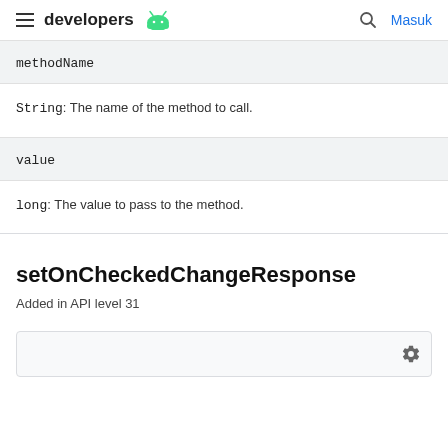developers [android logo] | [search icon] Masuk
| methodName |
| --- |
String: The name of the method to call.
| value |
| --- |
long: The value to pass to the method.
setOnCheckedChangeResponse
Added in API level 31